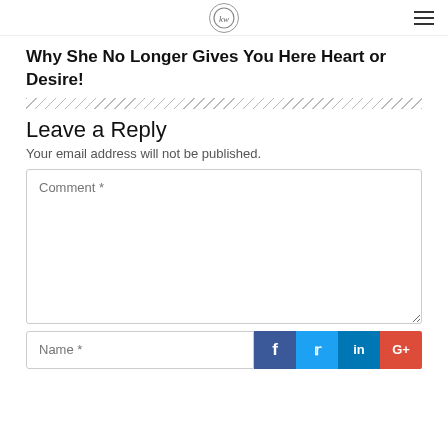KW logo and hamburger menu
Why She No Longer Gives You Here Heart or Desire!
Leave a Reply
Your email address will not be published.
Comment *
Name *